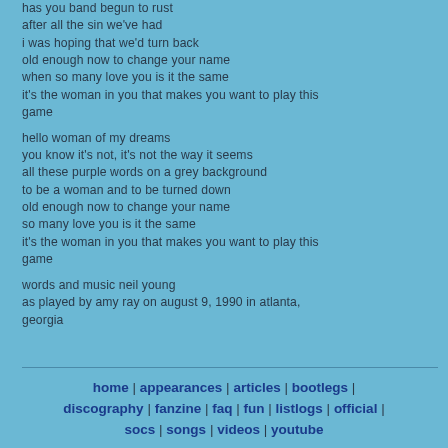has you band begun to rust
after all the sin we've had
i was hoping that we'd turn back
old enough now to change your name
when so many love you is it the same
it's the woman in you that makes you want to play this game

hello woman of my dreams
you know it's not, it's not the way it seems
all these purple words on a grey background
to be a woman and to be turned down
old enough now to change your name
so many love you is it the same
it's the woman in you that makes you want to play this game

words and music neil young
as played by amy ray on august 9, 1990 in atlanta, georgia
home | appearances | articles | bootlegs | discography | fanzine | faq | fun | listlogs | official | socs | songs | videos | youtube